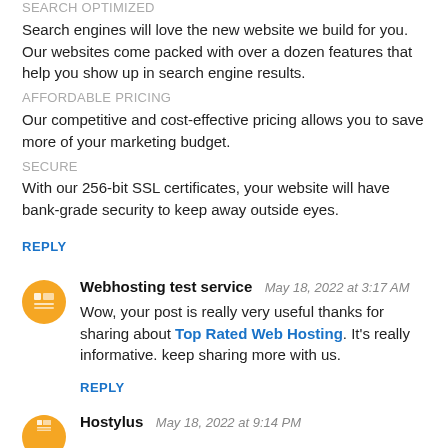SEARCH OPTIMIZED
Search engines will love the new website we build for you. Our websites come packed with over a dozen features that help you show up in search engine results.
AFFORDABLE PRICING
Our competitive and cost-effective pricing allows you to save more of your marketing budget.
SECURE
With our 256-bit SSL certificates, your website will have bank-grade security to keep away outside eyes.
REPLY
Webhosting test service  May 18, 2022 at 3:17 AM
Wow, your post is really very useful thanks for sharing about Top Rated Web Hosting. It's really informative. keep sharing more with us.
REPLY
Hostylus  May 18, 2022 at 9:14 PM